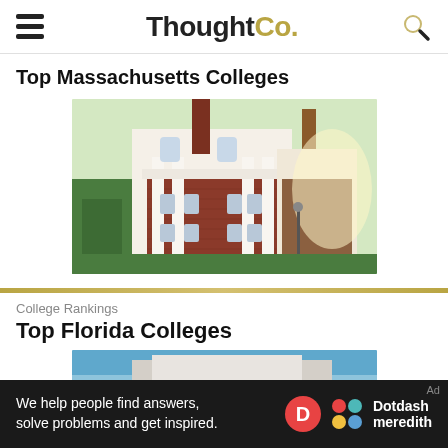ThoughtCo.
Top Massachusetts Colleges
[Figure (photo): Photograph of a red brick colonial-style college building with white columns and trim, chimneys, and surrounding trees in Massachusetts.]
College Rankings
Top Florida Colleges
[Figure (photo): Partial view of a Florida college building with blue sky background.]
We help people find answers, solve problems and get inspired.
Dotdash meredith